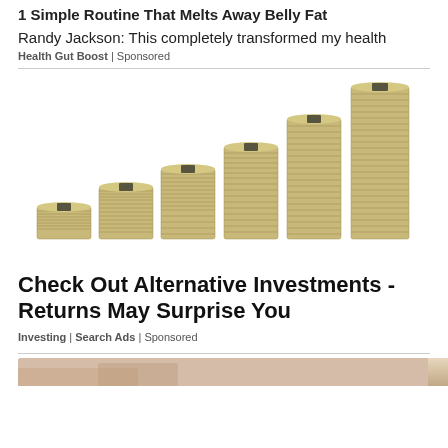1 Simple Routine That Melts Away Belly Fat
Randy Jackson: This completely transformed my health
Health Gut Boost | Sponsored
[Figure (photo): Stacked piles of US dollar bills arranged in ascending staircase pattern on white background]
Check Out Alternative Investments - Returns May Surprise You
Investing | Search Ads | Sponsored
[Figure (photo): Partially visible image at bottom of page]